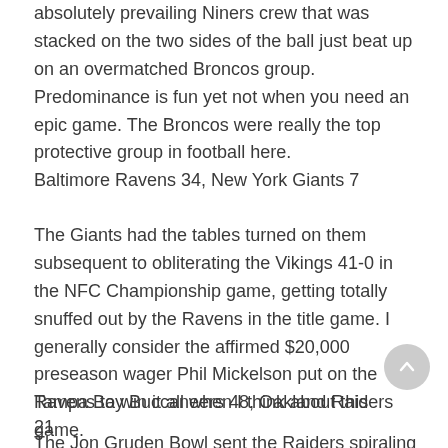absolutely prevailing Niners crew that was stacked on the two sides of the ball just beat up on an overmatched Broncos group. Predominance is fun yet not when you need an epic game. The Broncos were really the top protective group in football here.
Baltimore Ravens 34, New York Giants 7
The Giants had the tables turned on them subsequent to obliterating the Vikings 41-0 in the NFC Championship game, getting totally snuffed out by the Ravens in the title game. I generally consider the affirmed $20,000 preseason wager Phil Mickelson put on the Ravens to win it all when I think about this game.
Tampa Bay Buccaneers 48, Oakland Raiders 21
The Jon Gruden Bowl sent the Raiders spiraling (they wouldn't re-